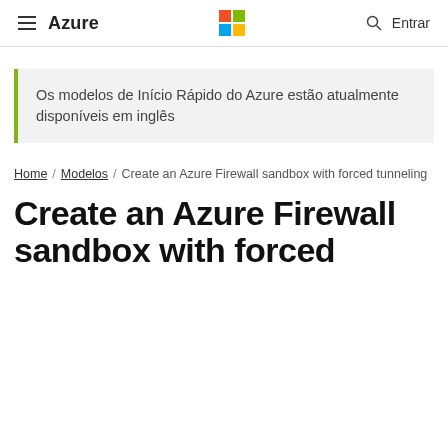Azure | Microsoft Logo | Entrar
Os modelos de Início Rápido do Azure estão atualmente disponíveis em inglês
Home / Modelos / Create an Azure Firewall sandbox with forced tunneling
Create an Azure Firewall sandbox with forced